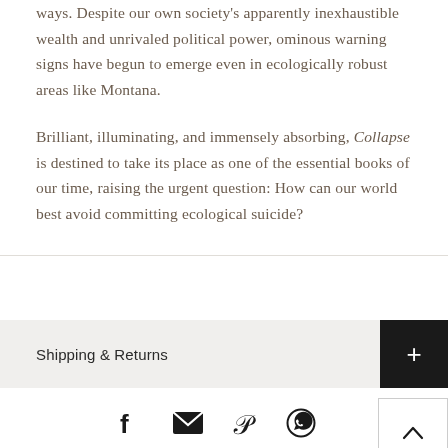ways. Despite our own society's apparently inexhaustible wealth and unrivaled political power, ominous warning signs have begun to emerge even in ecologically robust areas like Montana.
Brilliant, illuminating, and immensely absorbing, Collapse is destined to take its place as one of the essential books of our time, raising the urgent question: How can our world best avoid committing ecological suicide?
Shipping & Returns
[Figure (other): Social sharing icons row: Facebook, Email, Pinterest, WhatsApp icons]